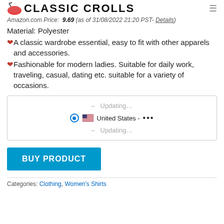CLASSIC CROLLS
Amazon.com Price: 9.69 (as of 31/08/2022 21:20 PST- Details)
Material: Polyester
❤A classic wardrobe essential, easy to fit with other apparels and accessories.
❤Fashionable for modern ladies. Suitable for daily work, traveling, casual, dating etc. suitable for a variety of occasions.
[Figure (screenshot): Shipping widget showing United States option with radio button selected, flag icon, and Updating... placeholders]
BUY PRODUCT
Categories: Clothing, Women's Shirts